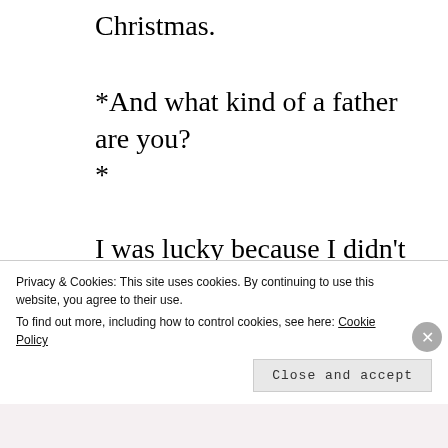Christmas.
*And what kind of a father are you?
*
I was lucky because I didn’t have a regular job by the time my kids were growing up.  My kids just got used to the idea that daddy was always around to play with or to come and talk.  I
Privacy & Cookies: This site uses cookies. By continuing to use this website, you agree to their use.
To find out more, including how to control cookies, see here: Cookie Policy
Close and accept